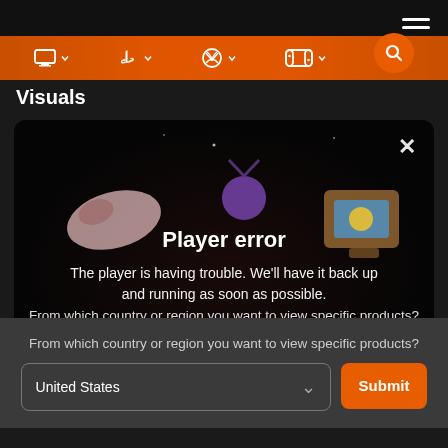[Figure (screenshot): Navigation bar with platform icons (PC, PlayStation, Xbox, Nintendo Switch) and a search button on an orange bar, with hamburger menu in top right on dark background]
Visuals
[Figure (screenshot): Video player showing a dark 3D scene with floating creatures and a TV prop. An error overlay reads: Player error — The player is having trouble. We'll have it back up and running as soon as possible. A close X button is in the top right corner.]
From which country or region you want to view specific products?
United States
Submit